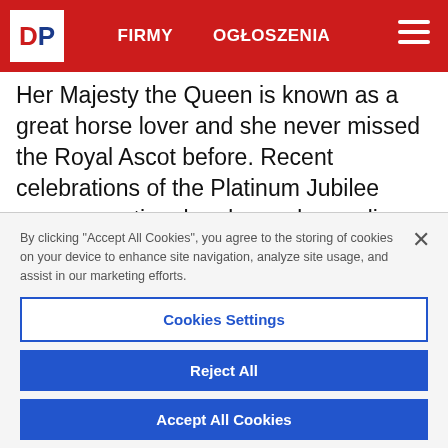DP — FIRMY   OGŁOSZENIA
Her Majesty the Queen is known as a great horse lover and she never missed the Royal Ascot before. Recent celebrations of the Platinum Jubilee were exceptional and very demanding for Her Majesty, who, at the age of 96, is still a very active monarch.The Queen misses Royal Ascot for
By clicking "Accept All Cookies", you agree to the storing of cookies on your device to enhance site navigation, analyze site usage, and assist in our marketing efforts.
Cookies Settings
Reject All
Accept All Cookies